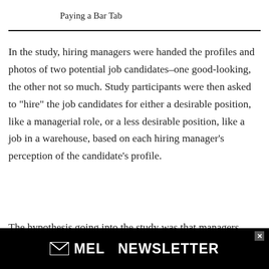Paying a Bar Tab
In the study, hiring managers were handed the profiles and photos of two potential job candidates–one good-looking, the other not so much. Study participants were then asked to “hire” the job candidates for either a desirable position, like a managerial role, or a less desirable position, like a job in a warehouse, based on each hiring manager’s perception of the candidate’s profile.
The hypothesis going into the study was that managers would want to hire attractive people
[Figure (other): MEL Newsletter advertisement banner at the bottom of the page with black background, white bold text reading 'MEL NEWSLETTER' with an envelope icon, and a close button with X in the top right corner.]